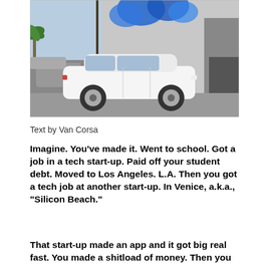[Figure (photo): A white Toyota Prius parked on a street in front of a grey concrete building with a blue butterfly mural painted on the upper portion. Palm trees and other parked cars are visible in the background on the left side.]
Text by Van Corsa
Imagine. You've made it. Went to school. Got a job in a tech start-up. Paid off your student debt. Moved to Los Angeles. L.A. Then you got a tech job at another start-up. In Venice, a.k.a., “Silicon Beach.”
That start-up made an app and it got big real fast. You made a shitload of money. Then you